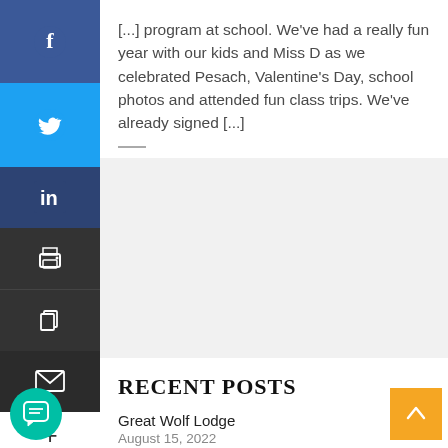[...] program at school. We've had a really fun year with our kids and Miss D as we celebrated Pesach, Valentine's Day, school photos and attended fun class trips. We've already signed [...]
[Figure (other): Social media sharing sidebar with Facebook (blue), Twitter (light blue), LinkedIn (dark blue), Print (dark gray), Copy (dark gray), Email (darkest gray) icons, and a plus button below]
RECENT POSTS
Great Wolf Lodge
August 15, 2022
First Day Of School Traditions
August 9, 2022